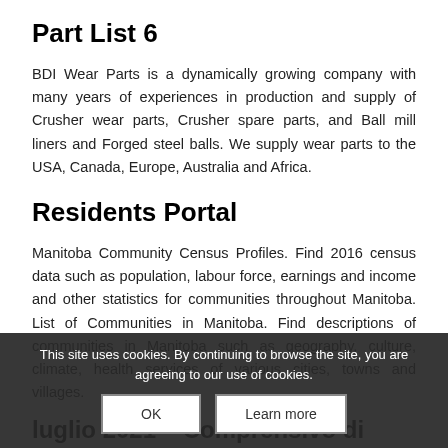Part List 6
BDI Wear Parts is a dynamically growing company with many years of experiences in production and supply of Crusher wear parts, Crusher spare parts, and Ball mill liners and Forged steel balls. We supply wear parts to the USA, Canada, Europe, Australia and Africa.
Residents Portal
Manitoba Community Census Profiles. Find 2016 census data such as population, labour force, earnings and income and other statistics for communities throughout Manitoba. List of Communities in Manitoba. Find descriptions of communities in Manitoba such as geography, culture, climate, health services of various cities, towns and villages.
luglio 2021 – Comprensivo di Faedis
E' pubblicato il calendario scolastico per l'a.s. 2021/2022. Si
This site uses cookies. By continuing to browse the site, you are agreeing to our use of cookies.